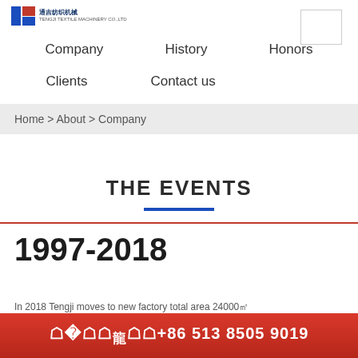[Figure (logo): Company logo with Chinese characters and blue/red emblem]
Company   History   Honors   Clients   Contact us
Home > About > Company
THE EVENTS
1997-2018
In 2018 Tengji moves to new factory total area 24000㎡
☎电话咨询+86 513 8505 9019